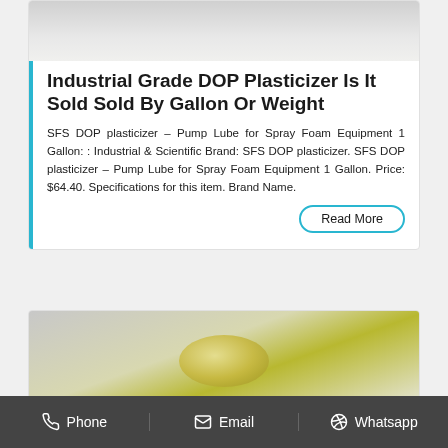[Figure (photo): Top portion of a white/cream colored product image on light gray background]
Industrial Grade DOP Plasticizer Is It Sold Sold By Gallon Or Weight
SFS DOP plasticizer – Pump Lube for Spray Foam Equipment 1 Gallon: : Industrial & Scientific Brand: SFS DOP plasticizer. SFS DOP plasticizer – Pump Lube for Spray Foam Equipment 1 Gallon. Price: $64.40. Specifications for this item. Brand Name.
[Figure (photo): Partially visible yellowish-green oval shaped product on light gray background]
Phone   Email   Whatsapp